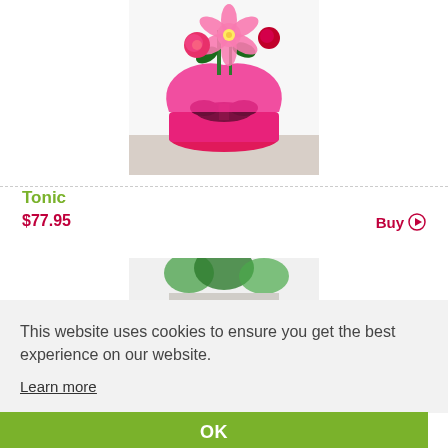[Figure (photo): A floral arrangement with pink lilies and roses in a pink-wrapped pot with a dark ribbon bow.]
Tonic
$77.95
Buy ▶
[Figure (photo): Partial view of a second floral product arrangement, partially obscured by cookie banner.]
This website uses cookies to ensure you get the best experience on our website.
Learn more
OK